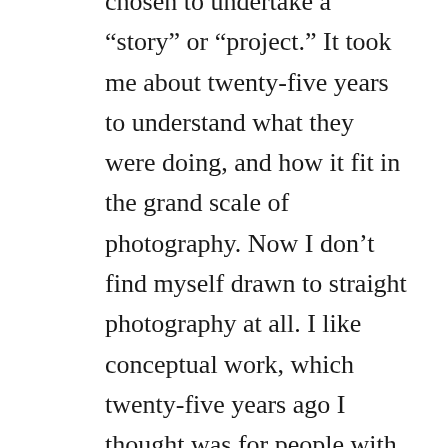chosen to undertake a “story” or “project.” It took me about twenty-five years to understand what they were doing, and how it fit in the grand scale of photography. Now I don’t find myself drawn to straight photography at all. I like conceptual work, which twenty-five years ago I thought was for people with no talent who weren’t good